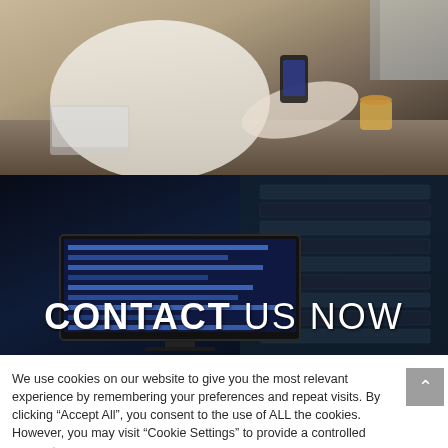[Figure (photo): Person in white shirt sitting at a desk, holding a phone and a coffee cup, with documents and a laptop visible on the desk]
[Figure (photo): Dark server room with glowing blue computer screen showing code/binary data, with server racks in the background]
CONTACT US NOW
We use cookies on our website to give you the most relevant experience by remembering your preferences and repeat visits. By clicking “Accept All”, you consent to the use of ALL the cookies. However, you may visit "Cookie Settings" to provide a controlled consent.